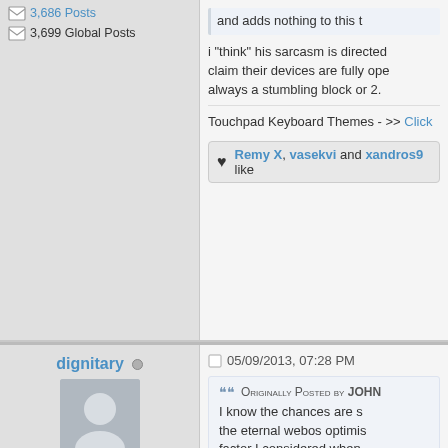3,686 Posts
3,699 Global Posts
and adds nothing to this t
i "think" his sarcasm is directed claim their devices are fully ope always a stumbling block or 2.
Touchpad Keyboard Themes - >> Click
Remy X, vasekvi and xandros9 like
dignitary
05/09/2013, 07:28 PM
753 Posts
779 Global Posts
Originally Posted by JOHN I know the chances are s the eternal webos optimis factor I considered when over the Iphone 5, that m